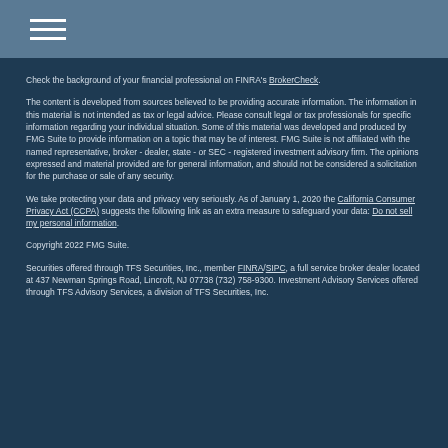Check the background of your financial professional on FINRA's BrokerCheck.
The content is developed from sources believed to be providing accurate information. The information in this material is not intended as tax or legal advice. Please consult legal or tax professionals for specific information regarding your individual situation. Some of this material was developed and produced by FMG Suite to provide information on a topic that may be of interest. FMG Suite is not affiliated with the named representative, broker - dealer, state - or SEC - registered investment advisory firm. The opinions expressed and material provided are for general information, and should not be considered a solicitation for the purchase or sale of any security.
We take protecting your data and privacy very seriously. As of January 1, 2020 the California Consumer Privacy Act (CCPA) suggests the following link as an extra measure to safeguard your data: Do not sell my personal information.
Copyright 2022 FMG Suite.
Securities offered through TFS Securities, Inc., member FINRA/SIPC, a full service broker dealer located at 437 Newman Springs Road, Lincroft, NJ 07738 (732) 758-9300. Investment Advisory Services offered through TFS Advisory Services, a division of TFS Securities, Inc.